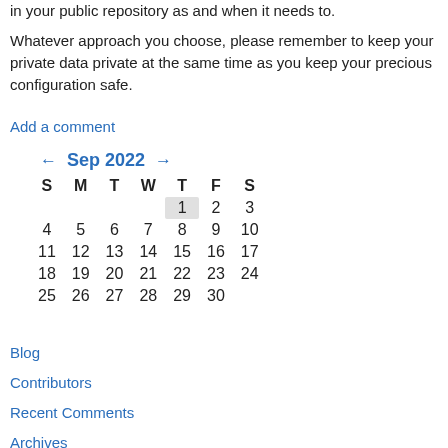in your public repository as and when it needs to.
Whatever approach you choose, please remember to keep your private data private at the same time as you keep your precious configuration safe.
Add a comment
| S | M | T | W | T | F | S |
| --- | --- | --- | --- | --- | --- | --- |
|  |  |  |  | 1 | 2 | 3 |
| 4 | 5 | 6 | 7 | 8 | 9 | 10 |
| 11 | 12 | 13 | 14 | 15 | 16 | 17 |
| 18 | 19 | 20 | 21 | 22 | 23 | 24 |
| 25 | 26 | 27 | 28 | 29 | 30 |  |
Blog
Contributors
Recent Comments
Archives